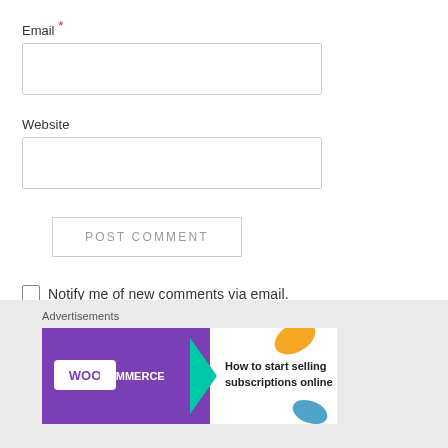Email *
[Figure (screenshot): Empty email input text field with light gray border]
Website
[Figure (screenshot): Empty website input text field with light gray border]
POST COMMENT
Notify me of new comments via email.
Notify me of new posts via email.
Advertisements
[Figure (screenshot): WooCommerce advertisement banner: purple background with WooCommerce logo and text 'How to start selling subscriptions online']